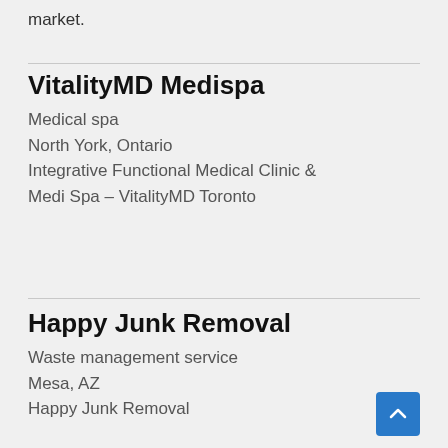market.
VitalityMD Medispa
Medical spa
North York, Ontario
Integrative Functional Medical Clinic & Medi Spa – VitalityMD Toronto
Happy Junk Removal
Waste management service
Mesa, AZ
Happy Junk Removal